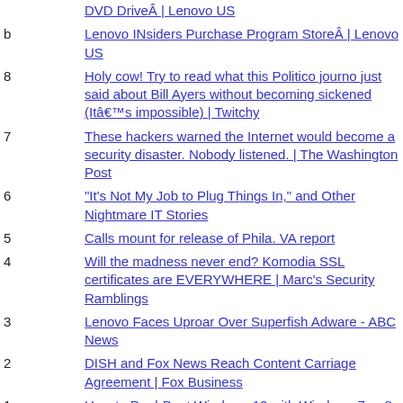DVD DriveÂ | Lenovo US
b — Lenovo INsiders Purchase Program StoreÂ | Lenovo US
8 — Holy cow! Try to read what this Politico journo just said about Bill Ayers without becoming sickened (Itâ€™s impossible) | Twitchy
7 — These hackers warned the Internet would become a security disaster. Nobody listened. | The Washington Post
6 — "It's Not My Job to Plug Things In," and Other Nightmare IT Stories
5 — Calls mount for release of Phila. VA report
4 — Will the madness never end? Komodia SSL certificates are EVERYWHERE | Marc's Security Ramblings
3 — Lenovo Faces Uproar Over Superfish Adware - ABC News
2 — DISH and Fox News Reach Content Carriage Agreement | Fox Business
1 — How to Dual-Boot Windows 10 with Windows 7 or 8
yourlsblog — YOURLS' Blog
ozh — ozh.org
yourls — YOURLS: Your Own URL Shortener